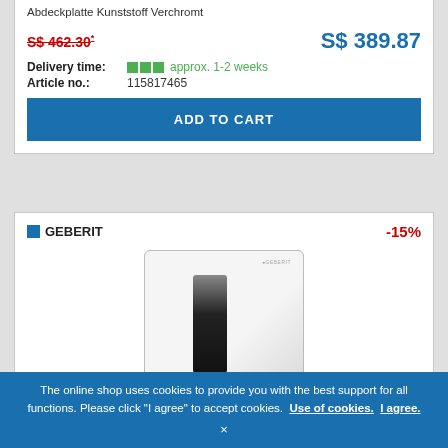Abdeckplatte Kunststoff Verchromt
S$ 462.30*  S$ 389.87
Delivery time: approx. 1-2 weeks
Article no.: 115817465
ADD TO CART
[Figure (logo): Geberit brand logo with blue square and text GEBERIT]
-15%
[Figure (photo): White Geberit flush plate product photo showing a rectangular white plastic cover plate with a black vertical actuator button]
The online shop uses cookies to provide you with the best support for all functions. Please click "I agree" to accept cookies. Use of cookies. I agree. ×